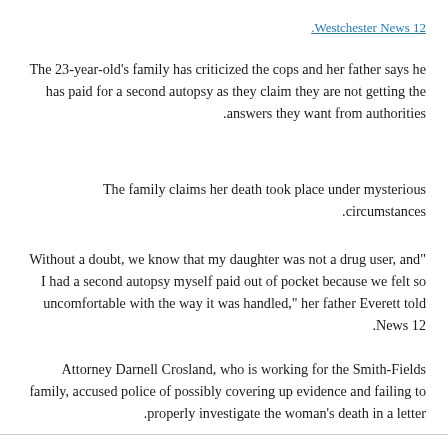.Westchester News 12
The 23-year-old’s family has criticized the cops and her father says he has paid for a second autopsy as they claim they are not getting the answers they want from authorities.
The family claims her death took place under mysterious circumstances.
“Without a doubt, we know that my daughter was not a drug user, and I had a second autopsy myself paid out of pocket because we felt so uncomfortable with the way it was handled,” her father Everett told News 12.
Attorney Darnell Crosland, who is working for the Smith-Fields family, accused police of possibly covering up evidence and failing to properly investigate the woman’s death in a letter.